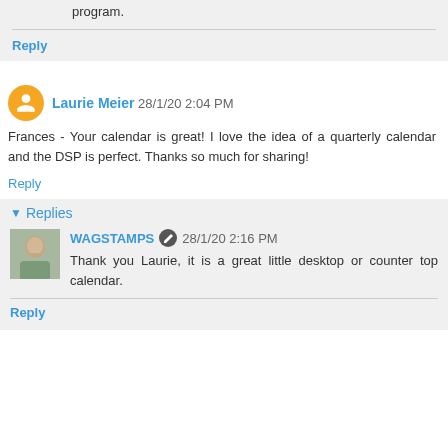program.
Reply
Laurie Meier 28/1/20 2:04 PM
Frances - Your calendar is great! I love the idea of a quarterly calendar and the DSP is perfect. Thanks so much for sharing!
Reply
Replies
WAGSTAMPS 28/1/20 2:16 PM
Thank you Laurie, it is a great little desktop or counter top calendar.
Reply